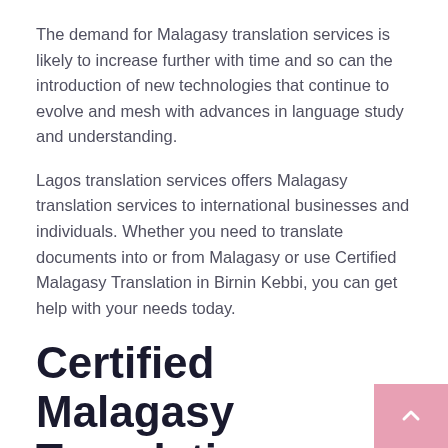The demand for Malagasy translation services is likely to increase further with time and so can the introduction of new technologies that continue to evolve and mesh with advances in language study and understanding.
Lagos translation services offers Malagasy translation services to international businesses and individuals. Whether you need to translate documents into or from Malagasy or use Certified Malagasy Translation in Birnin Kebbi, you can get help with your needs today.
Certified Malagasy Translation Agency in Birnin Kebbi